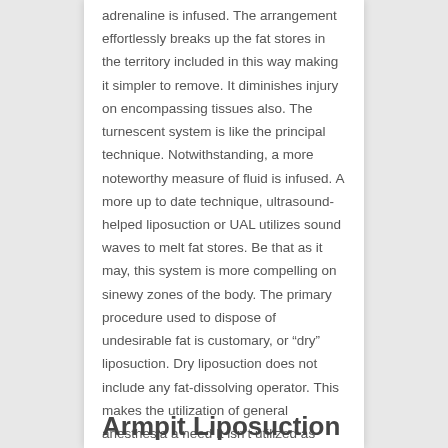adrenaline is infused. The arrangement effortlessly breaks up the fat stores in the territory included in this way making it simpler to remove. It diminishes injury on encompassing tissues also. The turnescent system is like the principal technique. Notwithstanding, a more noteworthy measure of fluid is infused. A more up to date technique, ultrasound-helped liposuction or UAL utilizes sound waves to melt fat stores. Be that as it may, this system is more compelling on sinewy zones of the body. The primary procedure used to dispose of undesirable fat is customary, or “dry” liposuction. Dry liposuction does not include any fat-dissolving operator. This makes the utilization of general anesthesia a need It isn’t utilized as much nowadays.
Armpit Liposuction